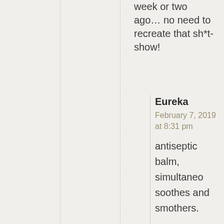week or two ago… no need to recreate that sh*t-show!
Eureka
February 7, 2019 at 8:31 pm
antiseptic balm, simultaneo soothes and smothers.